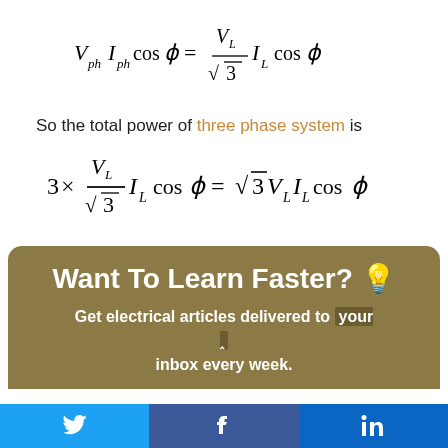So the total power of three phase system is
Want To Learn Faster? 💡
Get electrical articles delivered to your inbox every week.